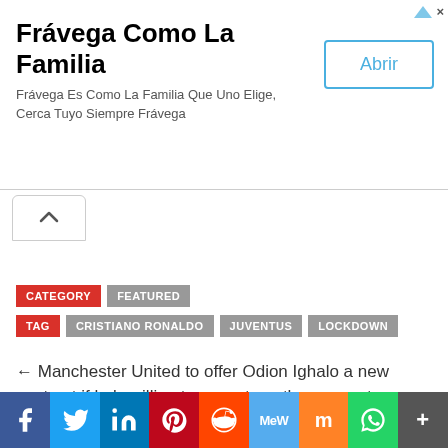[Figure (other): Advertisement banner for Frávega Como La Familia with an 'Abrir' button]
← Manchester United to offer Odion Ighalo a new contract if he's willing to accept another pay cut
Paul Pogba v Graeme Souness →
[Figure (other): Social media share bar with Facebook, Twitter, LinkedIn, Pinterest, Reddit, MeWe, Mix, WhatsApp, More buttons]